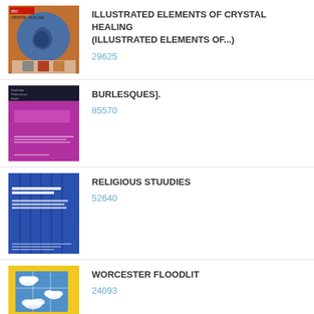[Figure (photo): Book cover for Illustrated Elements of Crystal Healing]
ILLUSTRATED ELEMENTS OF CRYSTAL HEALING (ILLUSTRATED ELEMENTS OF...)
29625
[Figure (photo): Book cover for Burlesques]., purple/magenta cover]
BURLESQUES].
85570
[Figure (photo): Book cover for Religious Stuudies, blue cover]
RELIGIOUS STUUDIES
52640
[Figure (photo): Book cover for Worcester Floodlit, yellow cover]
WORCESTER FLOODLIT
24093